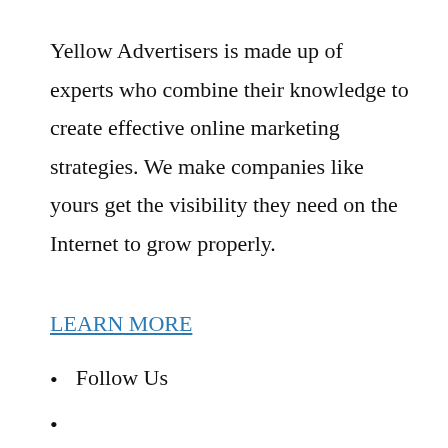Yellow Advertisers is made up of experts who combine their knowledge to create effective online marketing strategies. We make companies like yours get the visibility they need on the Internet to grow properly.
LEARN MORE
Follow Us